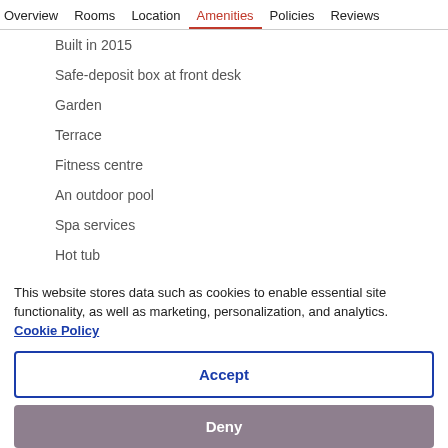Overview  Rooms  Location  Amenities  Policies  Reviews
Built in 2015
Safe-deposit box at front desk
Garden
Terrace
Fitness centre
An outdoor pool
Spa services
Hot tub
This website stores data such as cookies to enable essential site functionality, as well as marketing, personalization, and analytics. Cookie Policy
Accept
Deny